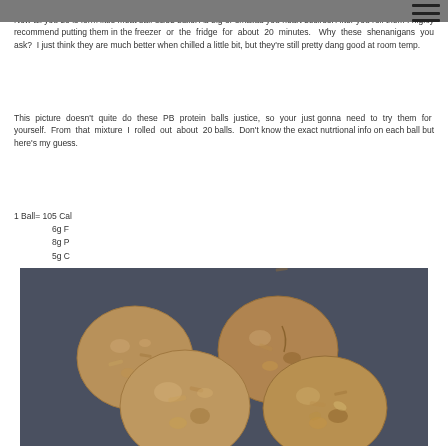Now all you do is form little meat ball-sized balls. As big or smallas you heart desires. After you roll them I highly recommend putting them in the freezer or the fridge for about 20 minutes. Why these shenanigans you ask? I just think they are much better when chilled a little bit, but they're still pretty dang good at room temp.
This picture doesn't quite do these PB protein balls justice, so your just gonna need to try them for yourself. From that mixture I rolled out about 20 balls. Don't know the exact nutrtional info on each ball but here's my guess.
1 Ball= 105 Cal
	6g F
	8g P
	5g C
[Figure (photo): Photo of four peanut butter protein balls on a dark blue surface, showing a chunky, oat-filled texture.]